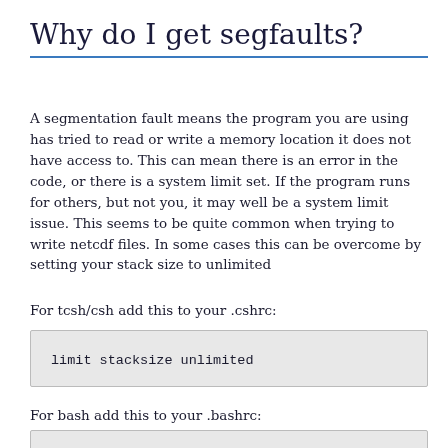Why do I get segfaults?
A segmentation fault means the program you are using has tried to read or write a memory location it does not have access to. This can mean there is an error in the code, or there is a system limit set. If the program runs for others, but not you, it may well be a system limit issue. This seems to be quite common when trying to write netcdf files. In some cases this can be overcome by setting your stack size to unlimited
For tcsh/csh add this to your .cshrc:
limit stacksize unlimited
For bash add this to your .bashrc:
ulimit -s unlimited